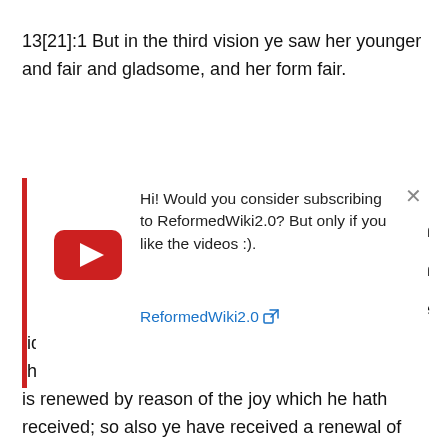13[21]:1 But in the third vision ye saw her younger and fair and gladsome, and her form fair.
[Figure (screenshot): YouTube subscription popup overlay with red vertical bar on left, YouTube play button icon, text 'Hi! Would you consider subscribing to ReformedWiki2.0? But only if you like the videos :).' and blue link 'ReformedWiki2.0' with external link icon, and X close button. Partially overlapping document text about 'er cometh', 'he forgetteth', 'g but the'.]
tidings which he hath heard, and is strengthened thenceforth unto that which is good, and his spirit is renewed by reason of the joy which he hath received; so also ye have received a renewal of your spirits by seeing these good things.
13[21]:3 And whereas thou sawest her seated on a couch, the position is a firm on; for the couch has four feet and standeth firmly; for the world too Is upheld by